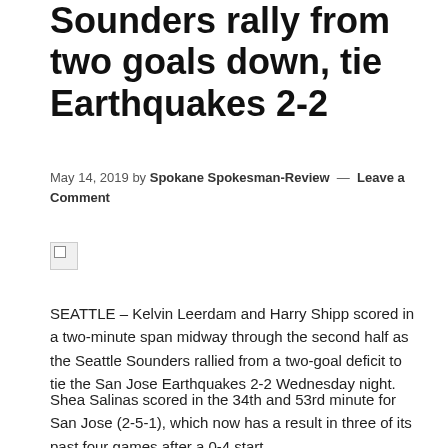Sounders rally from two goals down, tie Earthquakes 2-2
May 14, 2019 by Spokane Spokesman-Review — Leave a Comment
[Figure (photo): Broken image placeholder icon]
SEATTLE – Kelvin Leerdam and Harry Shipp scored in a two-minute span midway through the second half as the Seattle Sounders rallied from a two-goal deficit to tie the San Jose Earthquakes 2-2 Wednesday night.
Shea Salinas scored in the 34th and 53rd minute for San Jose (2-5-1), which now has a result in three of its past four games after a 0-4 start.